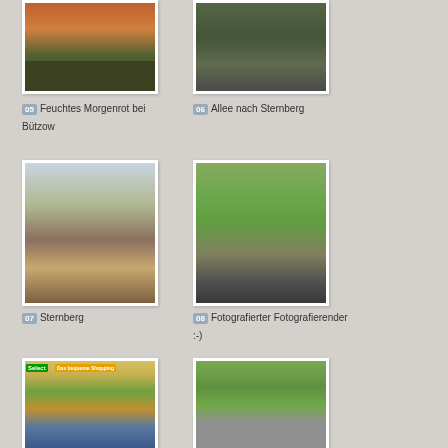[Figure (photo): Windmills at sunset with orange sky and dark fields - Feuchtes Morgenrot bei Bützow]
05 Feuchtes Morgenrot bei Bützow
[Figure (photo): Tree-lined road with cyclist - Allee nach Sternberg]
06 Allee nach Sternberg
[Figure (photo): Town view of Sternberg with church steeple and historic buildings]
07 Sternberg
[Figure (photo): Person on recumbent bicycle being photographed on a rural road]
08 Fotografierter Fotografierender :-)
[Figure (photo): Select convenience store with bicycles parked outside - Das bequeme Shopping]
[Figure (photo): Person standing next to bicycle and equipment outdoors]